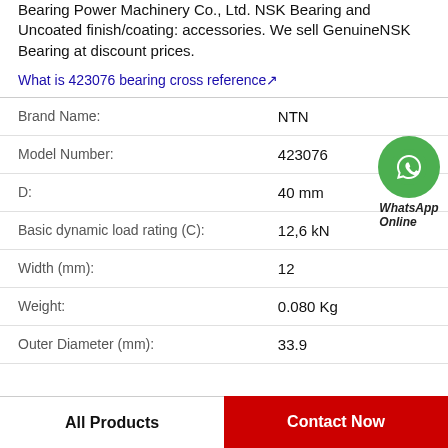Bearing Power Machinery Co., Ltd. NSK Bearing and Uncoated finish/coating: accessories. We sell GenuineNSK Bearing at discount prices.
What is 423076 bearing cross reference↗
| Property | Value |
| --- | --- |
| Brand Name: | NTN |
| Model Number: | 423076 |
| D: | 40 mm |
| Basic dynamic load rating (C): | 12,6 kN |
| Width (mm): | 12 |
| Weight: | 0.080 Kg |
| Outer Diameter (mm): | 33.9 |
All Products
Contact Now